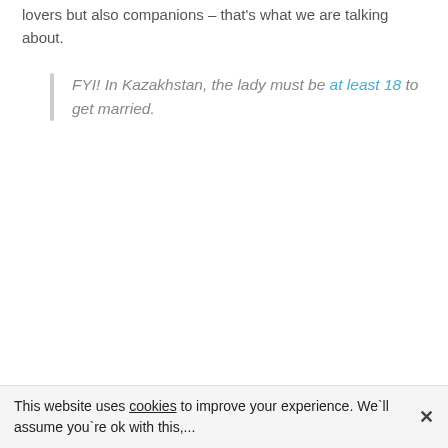lovers but also companions – that's what we are talking about.
FYI! In Kazakhstan, the lady must be at least 18 to get married.
This website uses cookies to improve your experience. We`ll assume you`re ok with this,...